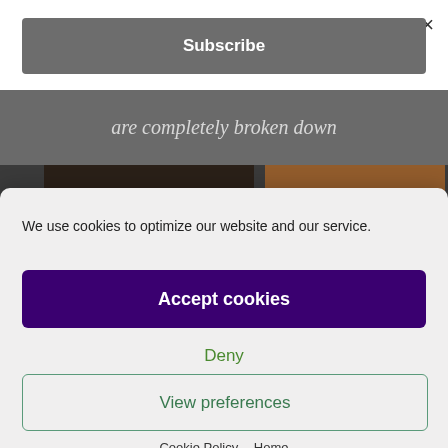×
Subscribe
[Figure (screenshot): Dark gray background with italic text reading 'are completely broken down' and a partial photo strip showing kitchen/food items]
We use cookies to optimize our website and our service.
Accept cookies
Deny
View preferences
Cookie Policy   Home